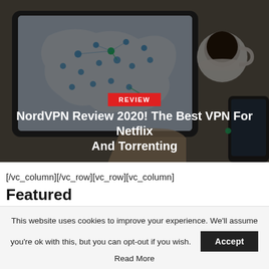[Figure (photo): Hero image: person holding a tablet showing a VPN server map (Europe), with a coffee cup in the background on a wooden desk. Dark overlay tint.]
NordVPN Review 2020! The Best VPN For Netflix And Torrenting
[/vc_column][/vc_row][vc_row][vc_column]
Featured
This website uses cookies to improve your experience. We'll assume you're ok with this, but you can opt-out if you wish. Read More